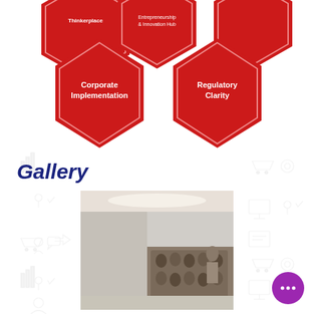[Figure (infographic): Red hexagonal shapes. Top partial hexagons include a logo/title area and 'Entrepreneurship & Innovation Hub'. Middle row shows two full hexagons labeled 'Corporate Implementation' and 'Regulatory Clarity'. Background has light grey icons.]
Gallery
[Figure (photo): A speaker in a blue sari presenting at a modern auditorium/conference room with a curved stage, podium, and an audience seated in the background.]